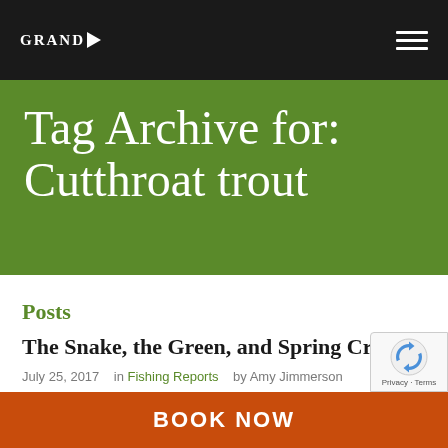GRAND
Tag Archive for: Cutthroat trout
Posts
The Snake, the Green, and Spring Creeks
July 25, 2017   in Fishing Reports   by Amy Jimmerson
BOOK NOW